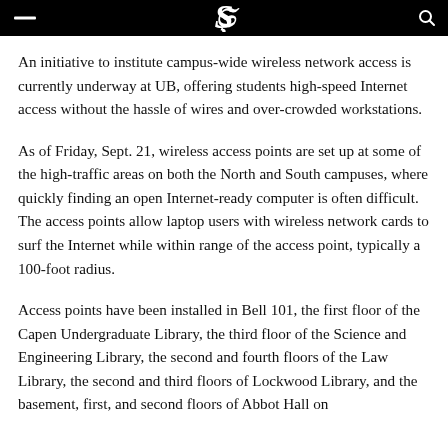An initiative to institute campus-wide wireless network access is currently underway at UB, offering students high-speed Internet access without the hassle of wires and over-crowded workstations.
As of Friday, Sept. 21, wireless access points are set up at some of the high-traffic areas on both the North and South campuses, where quickly finding an open Internet-ready computer is often difficult. The access points allow laptop users with wireless network cards to surf the Internet while within range of the access point, typically a 100-foot radius.
Access points have been installed in Bell 101, the first floor of the Capen Undergraduate Library, the third floor of the Science and Engineering Library, the second and fourth floors of the Law Library, the second and third floors of Lockwood Library, and the basement, first, and second floors of Abbot Hall on